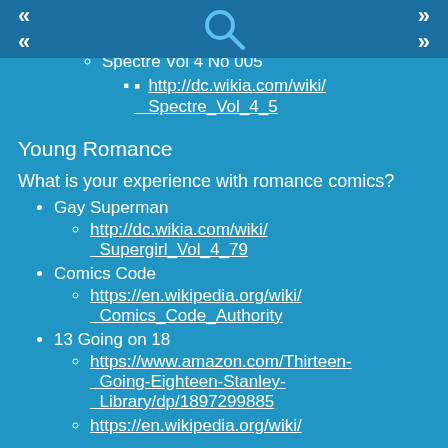Colin's HW
Spectre Vol 4 No 005
http://dc.wikia.com/wiki/Spectre_Vol_4_5
Young Romance
What is your experience with romance comics?
Gay Superman
http://dc.wikia.com/wiki/Supergirl_Vol_4_79
Comics Code
https://en.wikipedia.org/wiki/Comics_Code_Authority
13 Going on 18
https://www.amazon.com/Thirteen-Going-Eighteen-Stanley-Library/dp/1897299885
https://en.wikipedia.org/wiki/